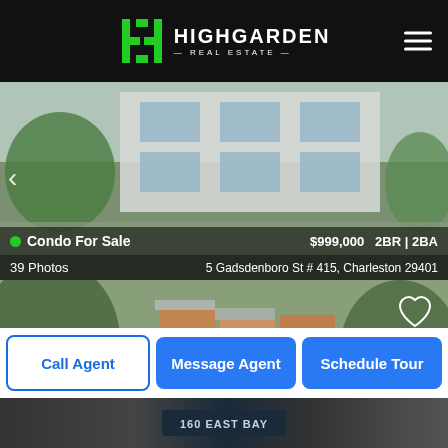Highgarden Real Estate
[Figure (photo): Aerial/street view of a modern white condo building in Charleston]
Condo For Sale   $999,000   2BR | 2BA
39 Photos   5 Gadsdenboro St # 415, Charleston 29401
[Figure (photo): Aerial drone view of brick townhouse/condo buildings in Charleston]
Condo For Sale   $1,099,000   2BR | 2BA
44 Photos   169-302 King St, Charleston 29401
Call Agent   Message Agent   Schedule Tour
[Figure (photo): Street-level view of 160 East Bay building]